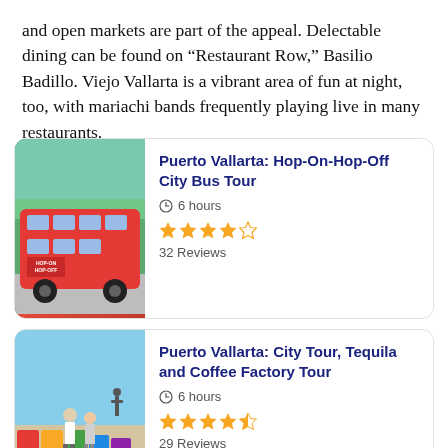and open markets are part of the appeal. Delectable dining can be found on “Restaurant Row,” Basilio Badillo. Viejo Vallarta is a vibrant area of fun at night, too, with mariachi bands frequently playing live in many restaurants.
[Figure (photo): Red Hop-On Hop-Off double-decker bus parked near green trees]
Puerto Vallarta: Hop-On-Hop-Off City Bus Tour
6 hours
32 Reviews
[Figure (photo): Two tourists standing in front of colorful murals in Puerto Vallarta]
Puerto Vallarta: City Tour, Tequila and Coffee Factory Tour
6 hours
29 Reviews
[Figure (photo): Partially visible third tour card at bottom of page]